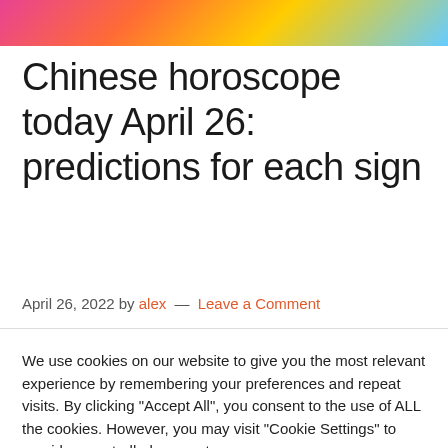[Figure (photo): Colorful image at top of page, appears to show decorative objects with pink, orange, yellow and blue colors]
Chinese horoscope today April 26: predictions for each sign
April 26, 2022 by alex — Leave a Comment
We use cookies on our website to give you the most relevant experience by remembering your preferences and repeat visits. By clicking "Accept All", you consent to the use of ALL the cookies. However, you may visit "Cookie Settings" to provide a controlled consent.